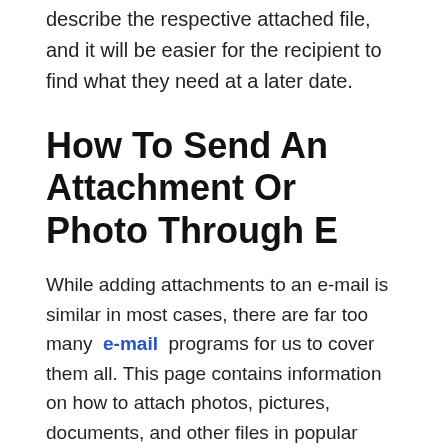describe the respective attached file, and it will be easier for the recipient to find what they need at a later date.
How To Send An Attachment Or Photo Through E
While adding attachments to an e-mail is similar in most cases, there are far too many e-mail programs for us to cover them all. This page contains information on how to attach photos, pictures, documents, and other files in popular programs and services. You may have to adapt the following steps to fit the specific e-mail program or service you use. To proceed, choose your program or service from the list below and follow the instructions.
Don't Miss: